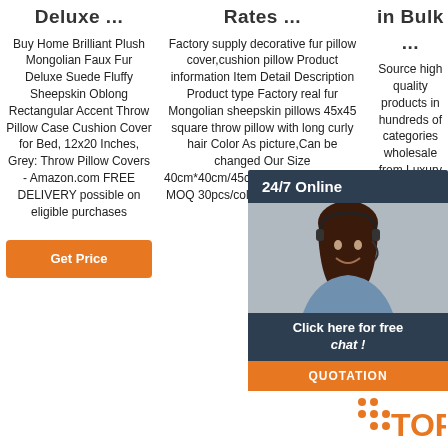Deluxe ...
Rates ...
in Bulk ...
Buy Home Brilliant Plush Mongolian Faux Fur Deluxe Suede Fluffy Sheepskin Oblong Rectangular Accent Throw Pillow Case Cushion Cover for Bed, 12x20 Inches, Grey: Throw Pillow Covers - Amazon.com FREE DELIVERY possible on eligible purchases
Factory supply decorative fur pillow cover,cushion pillow Product information Item Detail Description Product type Factory real fur Mongolian sheepskin pillows 45x45 square throw pillow with long curly hair Color As picture,Can be changed Our Size 40cm*40cm/45cm*45cm/50cm*50cm MOQ 30pcs/color for customer color
Source high quality products in hundreds of categories wholesale from Luxury Faux Chair Pad Pu Rugs f US $2 Piece; Cushion Cover Cotton Pillow Case 45x45 cm Christmas Decorations For Living Room Sofa
[Figure (infographic): Chat widget overlay with agent photo, '24/7 Online' header, 'Click here for free chat!' text, and orange QUOTATION button]
[Figure (logo): TOP logo with orange dots pattern and text]
Get Price (orange button)